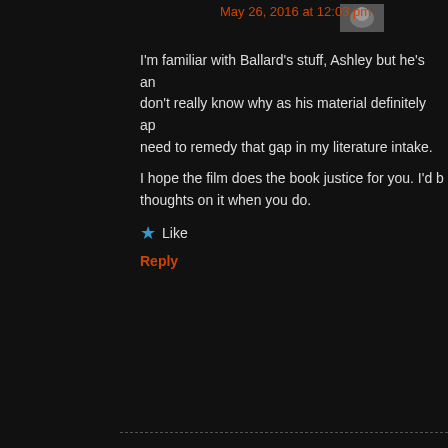May 26, 2016 at 12:03 pm
I'm familiar with Ballard's stuff, Ashley but he's an author I don't really know why as his material definitely ap... need to remedy that gap in my literature intake.
I hope the film does the book justice for you. I'd b... thoughts on it when you do.
Like
Reply
Zoë Says: May 26, 2016 at 5:44 am
Hmmmm, still something I am interested in seeing because... so mixed on it. Great review!
Liked by 1 person
Reply
Mark Walker Says: May 26, 2016 at 11:58 am
Advertisements
AUTOMATTIC
Build a better web and a better world.